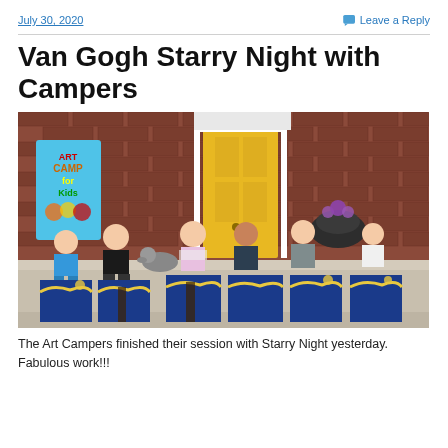July 30, 2020
Leave a Reply
Van Gogh Starry Night with Campers
[Figure (photo): Group of young children sitting on front steps of a brick building with a yellow door, each holding a painting of Van Gogh's Starry Night. A sign reading 'ART CAMP for Kids' is visible on the left. A dog sits among the children.]
The Art Campers finished their session with Starry Night yesterday. Fabulous work!!!